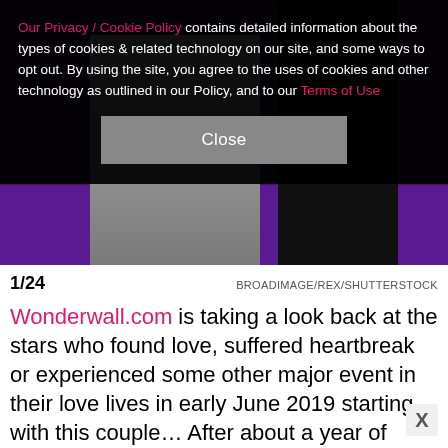Our Privacy / Cookie Policy contains detailed information about the types of cookies & related technology on our site, and some ways to opt out. By using the site, you agree to the uses of cookies and other technology as outlined in our Policy, and to our Terms of Use
[Figure (photo): Photo of two people standing on a purple carpet, showing legs and lower body. The person on the left wears a silver/metallic gown, the person on the right wears all black.]
1/24    BROADIMAGE/REX/SHUTTERSTOCK
Wonderwall.com is taking a look back at the stars who found love, suffered heartbreak or experienced some other major event in their love lives in early June 2019 starting with this couple… After about a year of dating